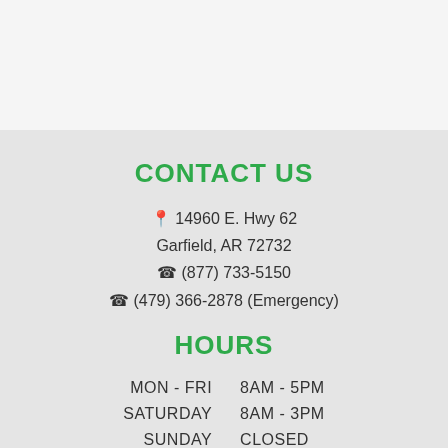CONTACT US
📍 14960 E. Hwy 62
Garfield, AR 72732
📞 (877) 733-5150
📞 (479) 366-2878 (Emergency)
HOURS
| MON - FRI | 8AM - 5PM |
| SATURDAY | 8AM - 3PM |
| SUNDAY | CLOSED |